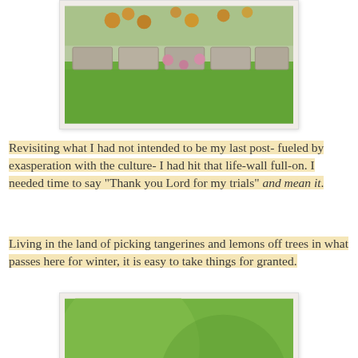[Figure (photo): Outdoor garden scene with stone pavers, green grass, and colorful flowers (orange and pink) in the background.]
Revisiting what I had not intended to be my last post- fueled by exasperation with the culture- I had hit that life-wall full-on. I needed time to say "Thank you Lord for my trials" and mean it.
Living in the land of picking tangerines and lemons off trees in what passes here for winter, it is easy to take things for granted.
[Figure (photo): Close-up photo of a hummingbird hovering near bright pink fluffy flowers against a blurred green background.]